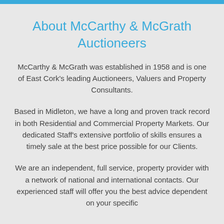About McCarthy & McGrath Auctioneers
McCarthy & McGrath was established in 1958 and is one of East Cork's leading Auctioneers, Valuers and Property Consultants.
Based in Midleton, we have a long and proven track record in both Residential and Commercial Property Markets. Our dedicated Staff's extensive portfolio of skills ensures a timely sale at the best price possible for our Clients.
We are an independent, full service, property provider with a network of national and international contacts. Our experienced staff will offer you the best advice dependent on your specific